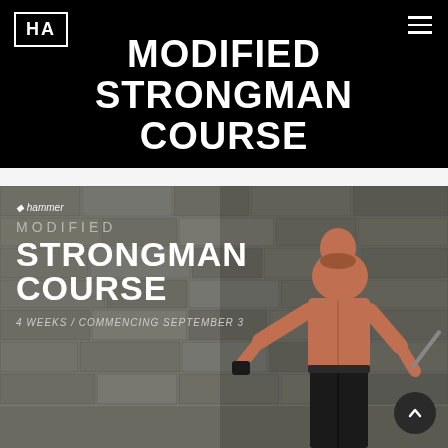HA
MODIFIED STRONGMAN COURSE
[Figure (photo): A muscular shirtless man standing in front of a stone wall, holding a strongman apparatus. Overlaid text reads: hammer / MODIFIED / STRONGMAN / COURSE / 4 WEEKS / COMMENCING SEPTEMBER 3]